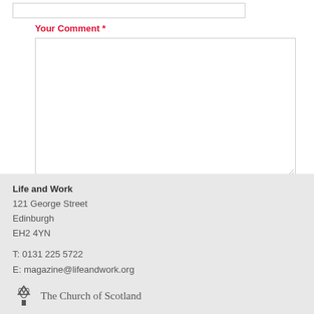[input box top]
Your Comment *
[textarea for comment]
Post Reply
Life and Work
121 George Street
Edinburgh
EH2 4YN

T: 0131 225 5722
E: magazine@lifeandwork.org

The Church of Scotland